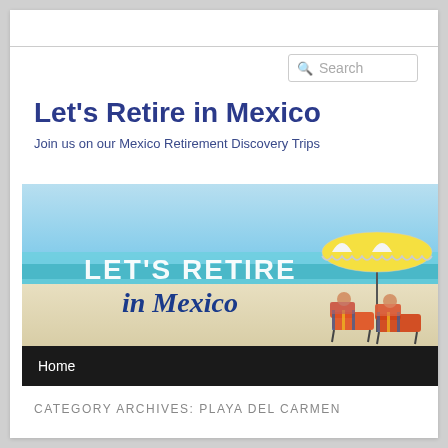[Figure (screenshot): Search box with magnifying glass icon and placeholder text 'Search']
Let's Retire in Mexico
Join us on our Mexico Retirement Discovery Trips
[Figure (photo): Beach banner image with text 'LET'S RETIRE in Mexico' overlaid, showing beach chairs and umbrella on a white sandy beach with turquoise water]
Home
CATEGORY ARCHIVES: PLAYA DEL CARMEN